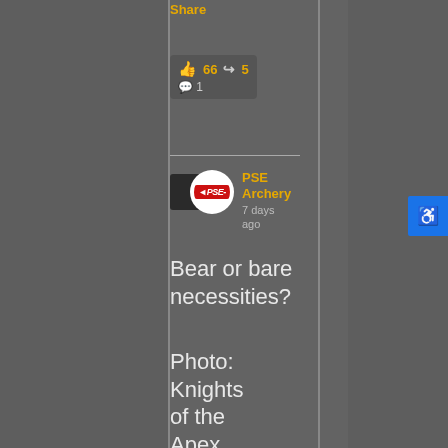Share
66  5
1
PSE Archery
7 days ago
Bear or bare necessities?
Photo: Knights of the Apex